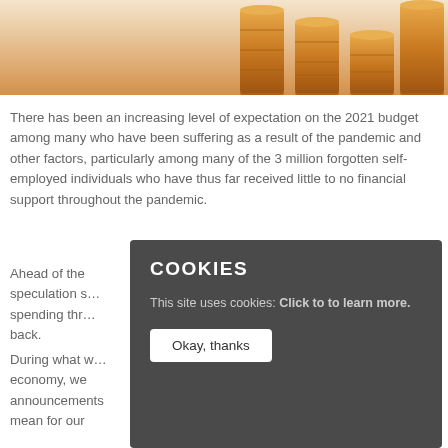[Figure (photo): Photo of stacked coins (copper/gold colored) arranged in multiple columns on a light background, partially visible at the top of the page.]
There has been an increasing level of expectation on the 2021 budget among many who have been suffering as a result of the pandemic and other factors, particularly among many of the 3 million forgotten self-employed individuals who have thus far received little to no financial support throughout the pandemic.
Ahead of the ... speculation s... spending thr... back.
During what w... economy, we ... announcements... mean for our ...
[Figure (screenshot): Cookie consent popup overlay with dark background. Title: COOKIES. Body text: 'This site uses cookies: Click to to learn more.' Button: 'Okay, thanks'.]